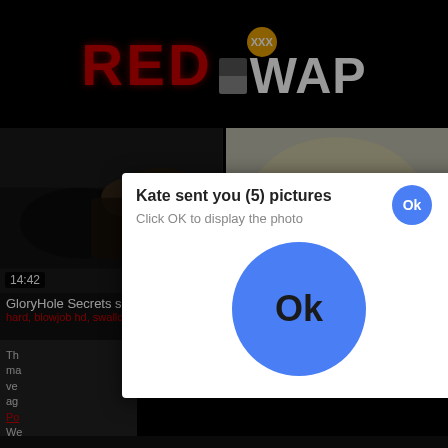[Figure (screenshot): RedWAP adult video website screenshot with a modal popup dialog saying 'Kate sent you (5) pictures' with 'Click OK to display the photo' and a large blue Ok button. Two video thumbnails visible: 'GloryHole Secrets smoking tra...' (14:42) and 'Arab woman gets missionary b...' (06:08). Tags shown in red. Modal has a small blue Ok button top right and an X close button.]
RED WAP XXX
GloryHole Secrets smoking tra...
hard, blowjob hd, swallow, cum...
Arab woman gets missionary b...
missionary, friend, arab, big tits...
Kate sent you (5) pictures
Click OK to display the photo
Ok
Ok
a1h